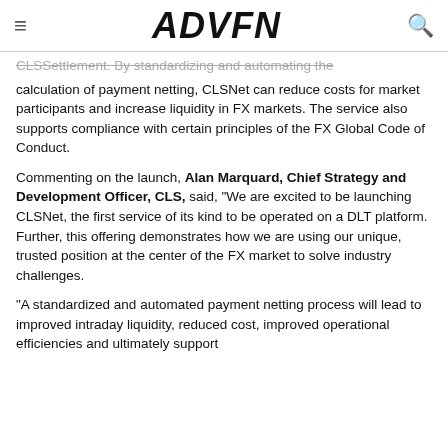ADVFN
CLSSettlement. By standardizing and automating the calculation of payment netting, CLSNet can reduce costs for market participants and increase liquidity in FX markets. The service also supports compliance with certain principles of the FX Global Code of Conduct.
Commenting on the launch, Alan Marquard, Chief Strategy and Development Officer, CLS, said, "We are excited to be launching CLSNet, the first service of its kind to be operated on a DLT platform. Further, this offering demonstrates how we are using our unique, trusted position at the center of the FX market to solve industry challenges.
"A standardized and automated payment netting process will lead to improved intraday liquidity, reduced cost, improved operational efficiencies and ultimately support business growth."